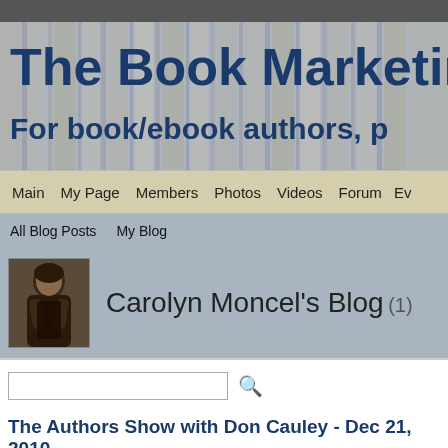The Book Marketing Network (partial)
For book/ebook authors, p...
Main  My Page  Members  Photos  Videos  Forum  Ev...
All Blog Posts   My Blog
Carolyn Moncel's Blog (1)
[Figure (photo): Profile photo of Carolyn Moncel - woman in black dress]
The Authors Show with Don Cauley - Dec 21, 2010
Hi Everyone, I'm on the Author's Show with Don Cauley on 12/21/2010 all o... Encounters in Paris : http://www.theauthorsshow.com/
...